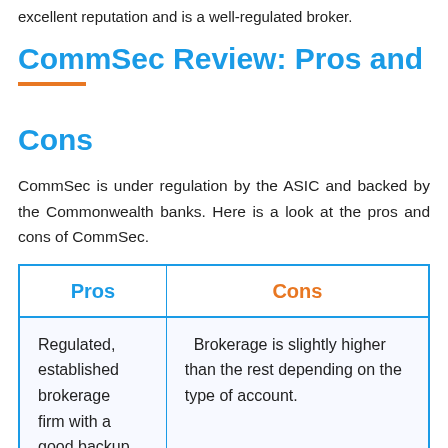excellent reputation and is a well-regulated broker.
CommSec Review: Pros and Cons
CommSec is under regulation by the ASIC and backed by the Commonwealth banks. Here is a look at the pros and cons of CommSec.
| Pros | Cons |
| --- | --- |
| Regulated, established brokerage firm with a good backup. | Brokerage is slightly higher than the rest depending on the type of account. |